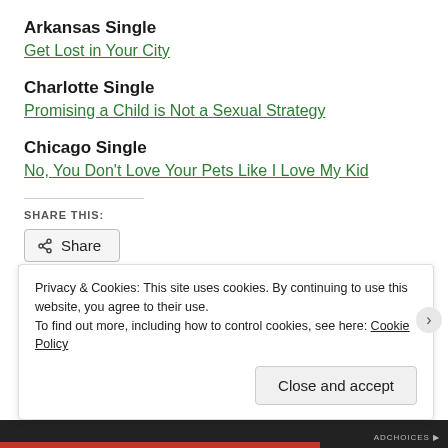Arkansas Single
Get Lost in Your City
Charlotte Single
Promising a Child is Not a Sexual Strategy
Chicago Single
No, You Don't Love Your Pets Like I Love My Kid
SHARE THIS:
Share
Privacy & Cookies: This site uses cookies. By continuing to use this website, you agree to their use.
To find out more, including how to control cookies, see here: Cookie Policy
Close and accept